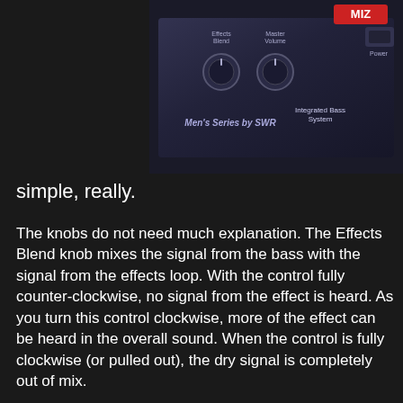[Figure (photo): Close-up photo of an SWR Integrated Bass System control panel/amplifier top, showing knobs labeled Effects Blend, Master Volume, and Power button. Text reads 'Men's Series by SWR' and 'Integrated Bass System'.]
simple, really.
The knobs do not need much explanation. The Effects Blend knob mixes the signal from the bass with the signal from the effects loop. With the control fully counter-clockwise, no signal from the effect is heard. As you turn this control clockwise, more of the effect can be heard in the overall sound. When the control is fully clockwise (or pulled out), the dry signal is completely out of mix.
The Aural Enhancer knob is kind of a magic turbo boost control that I do not really understand. To quote the Owner's Manual, “The Aural Enhancer was developed to bring out the fundamental low notes of the bass, reduce certain frequencies that can “mask” fundamentals and enhance the high-end transients. The effect becomes more pronounced as the control is turned up. The result is a more transparent sound. Listening to a passive bass with the control set all the